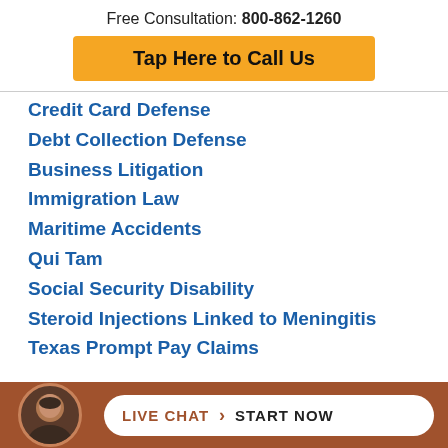Free Consultation: 800-862-1260
Tap Here to Call Us
Credit Card Defense
Debt Collection Defense
Business Litigation
Immigration Law
Maritime Accidents
Qui Tam
Social Security Disability
Steroid Injections Linked to Meningitis
Texas Prompt Pay Claims
LIVE CHAT › START NOW